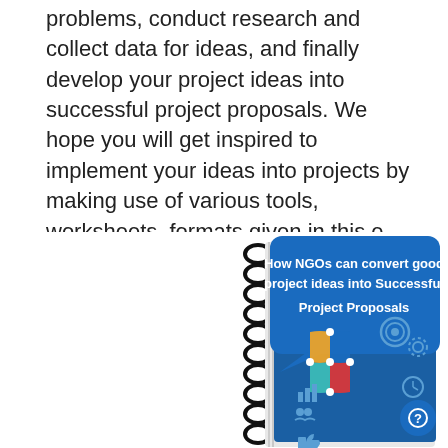problems, conduct research and collect data for ideas, and finally develop your project ideas into successful project proposals. We hope you will get inspired to implement your ideas into projects by making use of various tools, worksheets, formats given in this e-book…(Premium Members can sign in here to Download this Ebook)
[Figure (illustration): A spiral-bound e-book with a blue speech bubble cover reading 'How NGOs can convert good project ideas into Successful Project Proposals', with icons of a lightbulb made of puzzle pieces, target, gear, bar chart, people, clock, envelope, and thumbs up icons below.]